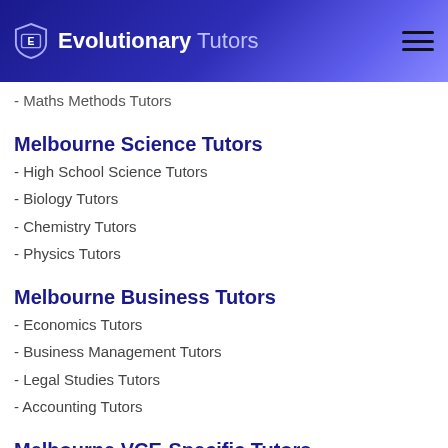Evolutionary Tutors
- Specialist Maths Tutors
- Maths Methods Tutors
Melbourne Science Tutors
- High School Science Tutors
- Biology Tutors
- Chemistry Tutors
- Physics Tutors
Melbourne Business Tutors
- Economics Tutors
- Business Management Tutors
- Legal Studies Tutors
- Accounting Tutors
Melbourne VCE-Specific Tutors
- Media Tutors